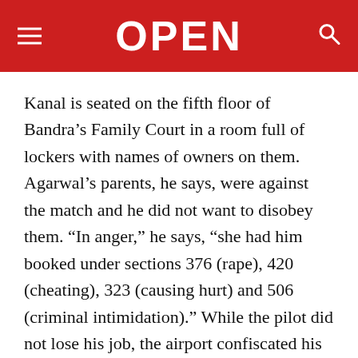OPEN
Kanal is seated on the fifth floor of Bandra’s Family Court in a room full of lockers with names of owners on them. Agarwal’s parents, he says, were against the match and he did not want to disobey them. “In anger,” he says, “she had him booked under sections 376 (rape), 420 (cheating), 323 (causing hurt) and 506 (criminal intimidation).” While the pilot did not lose his job, the airport confiscated his airport entry pass until his name was cleared. “He could not work for almost two years,” says the lawyer, “It was also a shameful period for him and his family.”